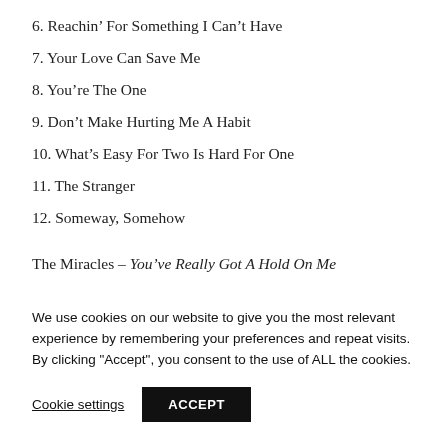6. Reachin' For Something I Can't Have
7. Your Love Can Save Me
8. You're The One
9. Don't Make Hurting Me A Habit
10. What's Easy For Two Is Hard For One
11. The Stranger
12. Someway, Somehow
The Miracles – You've Really Got A Hold On Me
We use cookies on our website to give you the most relevant experience by remembering your preferences and repeat visits. By clicking "Accept", you consent to the use of ALL the cookies.
Cookie settings   ACCEPT